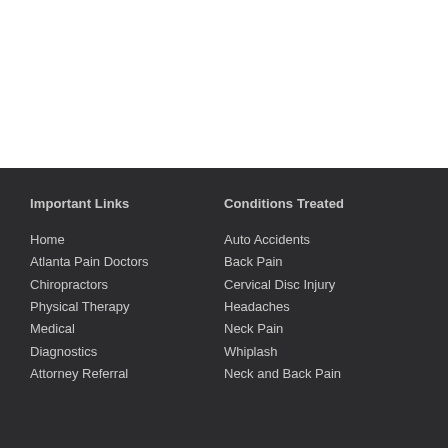Important Links
Home
Atlanta Pain Doctors
Chiropractors
Physical Therapy
Medical
Diagnostics
Attorney Referral
Conditions Treated
Auto Accidents
Back Pain
Cervical Disc Injury
Headaches
Neck Pain
Whiplash
Neck and Back Pain